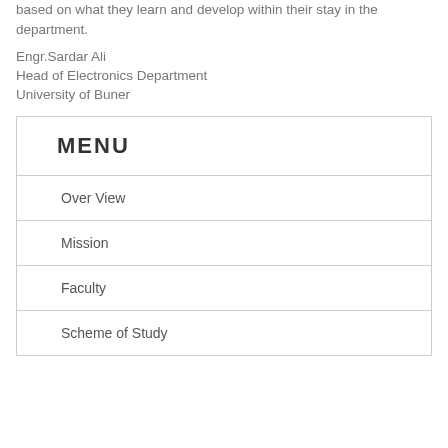motivation, and courage to create their own start-up companies based on what they learn and develop within their stay in the department.
Engr.Sardar Ali
Head of Electronics Department
University of Buner
MENU
Over View
Mission
Faculty
Scheme of Study